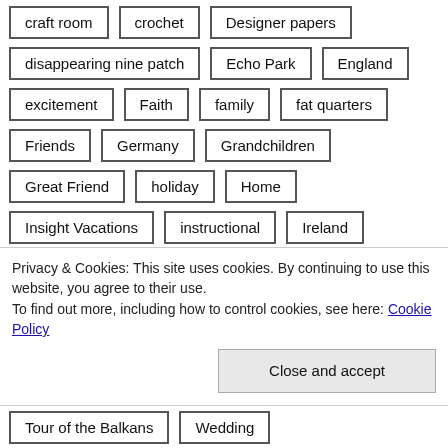craft room
crochet
Designer papers
disappearing nine patch
Echo Park
England
excitement
Faith
family
fat quarters
Friends
Germany
Grandchildren
Great Friend
holiday
Home
Insight Vacations
instructional
Ireland
London
Love
My Scrapbook pages
October Afternoon
Parenting
Patchwork
Privacy & Cookies: This site uses cookies. By continuing to use this website, you agree to their use.
To find out more, including how to control cookies, see here: Cookie Policy
Tour of the Balkans
Wedding